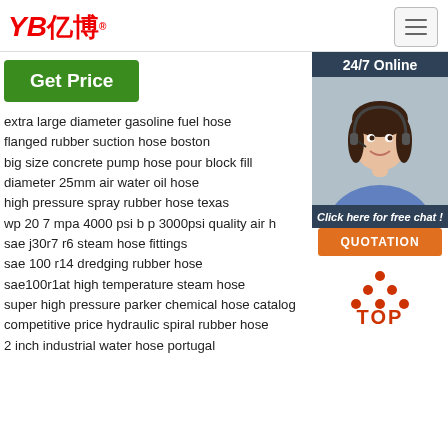YB亿博® — navigation header with hamburger menu
[Figure (illustration): Green Get Price button]
[Figure (illustration): 24/7 Online customer service agent photo with chat and quotation button]
extra large diameter gasoline fuel hose
flanged rubber suction hose boston
big size concrete pump hose pour block fill
diameter 25mm air water oil hose
high pressure spray rubber hose texas
wp 20 7 mpa 4000 psi b p 3000psi quality air h
sae j30r7 r6 steam hose fittings
sae 100 r14 dredging rubber hose
sae100r1at high temperature steam hose
super high pressure parker chemical hose catalog
competitive price hydraulic spiral rubber hose
2 inch industrial water hose portugal